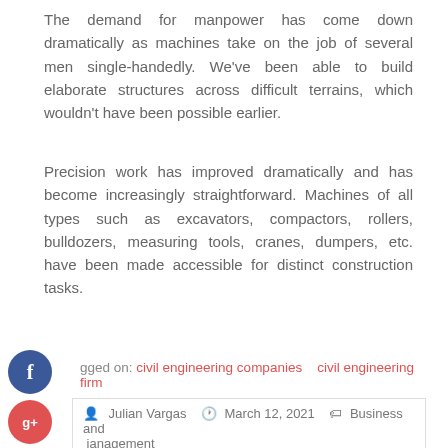The demand for manpower has come down dramatically as machines take on the job of several men single-handedly. We've been able to build elaborate structures across difficult terrains, which wouldn't have been possible earlier.
Precision work has improved dramatically and has become increasingly straightforward. Machines of all types such as excavators, compactors, rollers, bulldozers, measuring tools, cranes, dumpers, etc. have been made accessible for distinct construction tasks.
Tagged on: civil engineering companies    civil engineering firm
Julian Vargas    March 12, 2021    Business and Management
Finding a Law Firm: Helpful Facts You Should Know
When You Should Hire Car Accident Lawyer In Milwaukee?  →